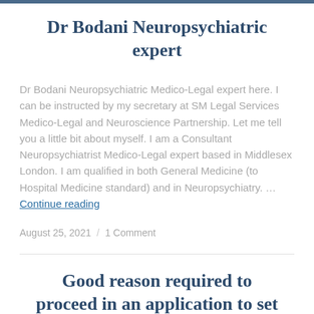Dr Bodani Neuropsychiatric expert
Dr Bodani Neuropsychiatric Medico-Legal expert here. I can be instructed by my secretary at SM Legal Services Medico-Legal and Neuroscience Partnership. Let me tell you a little bit about myself. I am a Consultant Neuropsychiatrist Medico-Legal expert based in Middlesex London. I am qualified in both General Medicine (to Hospital Medicine standard) and in Neuropsychiatry. ... Continue reading
August 25, 2021 / 1 Comment
Good reason required to proceed in an application to set